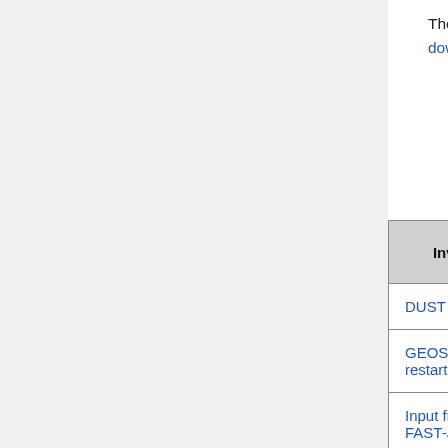The following data directories have been added or updated in this version. You will have to download the directories relevant to your simulation.
| Inventory | Type | What was added? |
| --- | --- | --- |
| DUST DEAD | DEFAULT | Anthropogenic PM2.5 dust s… |
| GEOS-Chem restart files | DEFAULT | GEOS-Chem restart file updates: New variables, new variable names, new file names |
| Input files for FAST-JX | DEFAULT | Move Fast-JX files from the geos-chem-unittest |